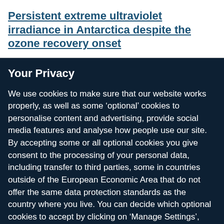Persistent extreme ultraviolet irradiance in Antarctica despite the ozone recovery onset
Your Privacy
We use cookies to make sure that our website works properly, as well as some ‘optional’ cookies to personalise content and advertising, provide social media features and analyse how people use our site. By accepting some or all optional cookies you give consent to the processing of your personal data, including transfer to third parties, some in countries outside of the European Economic Area that do not offer the same data protection standards as the country where you live. You can decide which optional cookies to accept by clicking on ‘Manage Settings’, where you can
Get the most important science stories of the day, free in your inbox.
Sign up for Nature Briefing